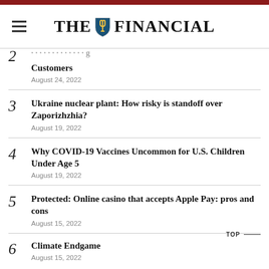THE FINANCIAL
Customers
August 24, 2022
Ukraine nuclear plant: How risky is standoff over Zaporizhzhia?
August 19, 2022
Why COVID-19 Vaccines Uncommon for U.S. Children Under Age 5
August 19, 2022
Protected: Online casino that accepts Apple Pay: pros and cons
August 15, 2022
Climate Endgame
August 15, 2022